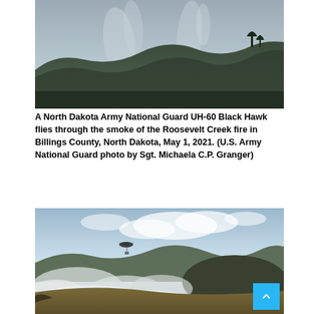[Figure (photo): Aerial view of hillside partially obscured by smoke from the Roosevelt Creek fire, with silhouettes of charred trees visible at the top of the ridge against a hazy sky.]
A North Dakota Army National Guard UH-60 Black Hawk flies through the smoke of the Roosevelt Creek fire in Billings County, North Dakota, May 1, 2021. (U.S. Army National Guard photo by Sgt. Michaela C.P. Granger)
[Figure (photo): A UH-60 Black Hawk helicopter flies through smoke over rolling hills during the Roosevelt Creek fire, with heavy white smoke billowing across the foreground near scorched grassland.]